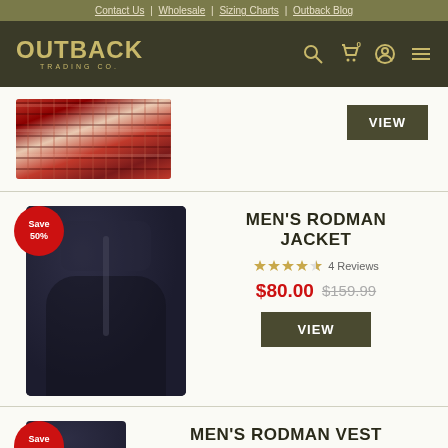Contact Us | Wholesale | Sizing Charts | Outback Blog
[Figure (logo): Outback Trading Co. logo with search, cart, account, and menu icons]
[Figure (photo): Partial view of a red plaid flannel shirt from above]
VIEW
Save 50%
[Figure (photo): Men's Rodman Jacket in dark navy color, full product photo]
MEN'S RODMAN JACKET
4 Reviews
$80.00  $159.99
VIEW
Save 50%
[Figure (photo): Partial view of Men's Rodman Vest in dark navy]
MEN'S RODMAN VEST